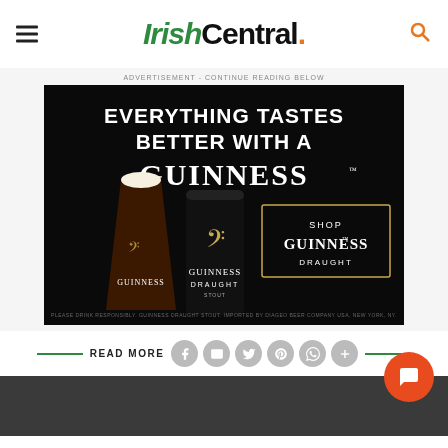IrishCentral.
ADVERTISEMENT - CONTINUE READING BELOW
[Figure (photo): Guinness advertisement: 'Everything Tastes Better With A Guinness' — dark background with a pint glass of Guinness stout and a Guinness Draught can, with a 'Shop Guinness Draught' button. Fine print: 'Please drink responsibly. Guinness Draught Stout. Imported by Diageo Beer Company USA, New York, NY.']
READ MORE